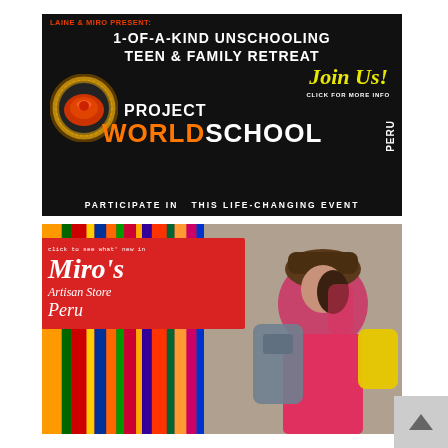[Figure (infographic): Project World School Peru advertisement banner. Dark background with text: 'LAINE & MIRO PRESENT: 1-OF-A-KIND UNSCHOOLING TEEN & FAMILY RETREAT', yellow italic 'Join Us!', 'CLICK FOR MORE INFO', 'PROJECT WORLDSCHOOL PERU', 'PARTICIPATE IN THIS LIFE-CHANGING EVENT'. Bowl/food image on left side.]
[Figure (infographic): Miro's Artisan Store Peru advertisement. Red overlay box with white text 'click to see what's new in', 'Miro's', 'Artisan Store', 'Peru'. Background shows colorful Peruvian textiles and a photo of a young woman with hat and backpack.]